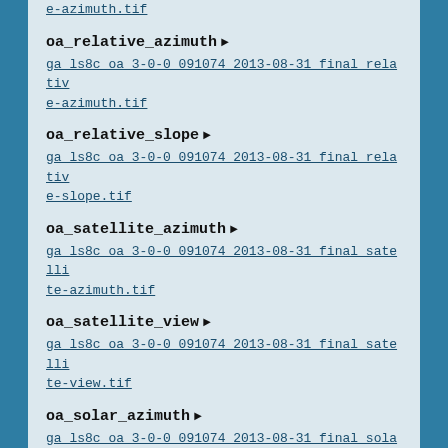e-azimuth.tif (truncated link continuation)
oa_relative_azimuth ▶
ga ls8c oa 3-0-0 091074 2013-08-31 final relative-azimuth.tif
oa_relative_slope ▶
ga ls8c oa 3-0-0 091074 2013-08-31 final relative-slope.tif
oa_satellite_azimuth ▶
ga ls8c oa 3-0-0 091074 2013-08-31 final satellite-azimuth.tif
oa_satellite_view ▶
ga ls8c oa 3-0-0 091074 2013-08-31 final satellite-view.tif
oa_solar_azimuth ▶
ga ls8c oa 3-0-0 091074 2013-08-31 final solar-azimuth.tif
oa_solar_zenith ▶